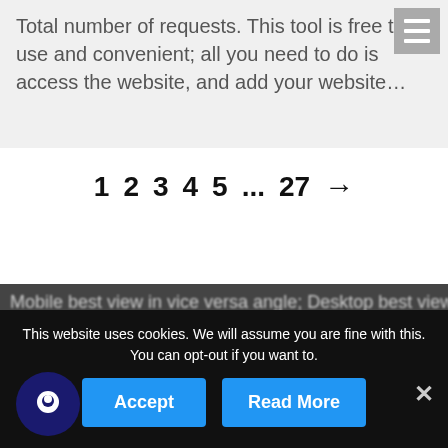Total number of requests. This tool is free to use and convenient; all you need to do is access the website, and add your website…
[Figure (screenshot): Hamburger menu icon (three horizontal lines) in gray box, top right corner]
1  2  3  4  5  ...  27  →
Mobile best view in vice versa angle; Desktop best view in
This website uses cookies. We will assume you are fine with this. You can opt-out if you want to.
Accept
Read More